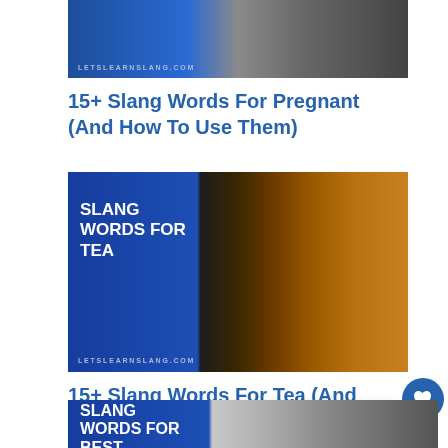[Figure (screenshot): Article thumbnail for '15+ Slang Words For Pregnant' showing letslearnslang.com watermark]
15+ Slang Words For Pregnant (And How To Use Them)
[Figure (screenshot): Article thumbnail for 'Slang Words For Tea' with blue panel and tea pouring image, letslearnslang.com watermark]
15+ Slang Words For Tea (And How To Use Them)
[Figure (screenshot): Article thumbnail for 'Slang Words For Best' with blue panel, partially visible]